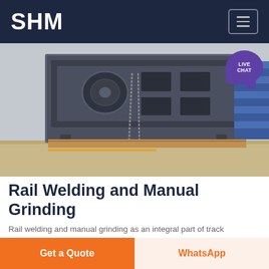SHM
[Figure (photo): Industrial machinery — a large metal vibratory screen or rail processing frame mounted on wooden pallets in a factory/warehouse setting, with blue storage pallets visible in the background.]
Rail Welding and Manual Grinding
Rail welding and manual grinding as an integral part of track maintenance and new construction Joint welding of rail in tracks and turnouts In order to produce a seamless continuous track rails are welded in track turnouts and crossings using different welding methods in the course of new construction measures
Get a Quote | WhatsApp